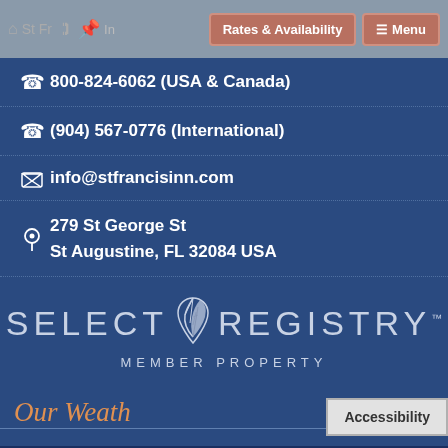St Francis Inn - Rates & Availability - Menu
800-824-6062 (USA & Canada)
(904) 567-0776 (International)
info@stfrancisinn.com
279 St George St
St Augustine, FL 32084 USA
[Figure (logo): Select Registry Member Property logo with feather icon]
Our Weather
Accessibility
ST. AUGUSTINE WEATHER